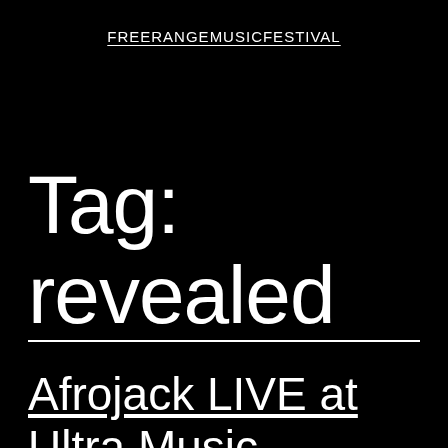FREERANGEMUSICFESTIVAL
Tag: revealed
Afrojack LIVE at Ultra Music Festival 2014